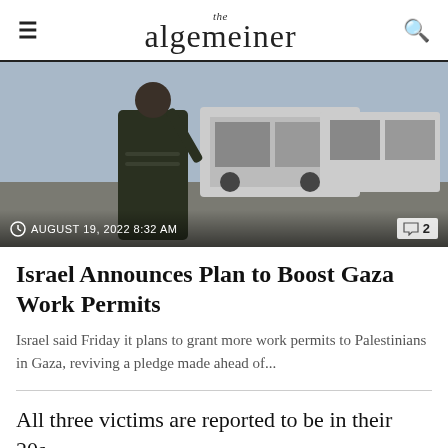the algemeiner
[Figure (photo): A soldier in military uniform gesturing with hand raised, with large trucks visible in the background. Date overlay: AUGUST 19, 2022 8:32 AM. Comment count: 2.]
Israel Announces Plan to Boost Gaza Work Permits
Israel said Friday it plans to grant more work permits to Palestinians in Gaza, reviving a pledge made ahead of...
All three victims are reported to be in their 20s.
Less than three hours earlier, at the same location